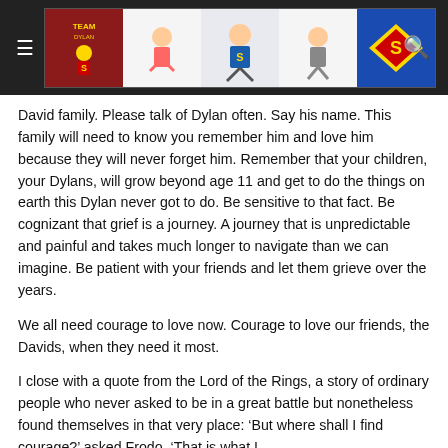[Figure (logo): Website header bar with hamburger menu icon on left, a strip of logo/banner images in the center (cartoon superhero characters, Superman logo), and a search icon on the right, all on a dark background.]
David family. Please talk of Dylan often. Say his name. This family will need to know you remember him and love him because they will never forget him. Remember that your children, your Dylans, will grow beyond age 11 and get to do the things on earth this Dylan never got to do. Be sensitive to that fact. Be cognizant that grief is a journey. A journey that is unpredictable and painful and takes much longer to navigate than we can imagine. Be patient with your friends and let them grieve over the years.
We all need courage to love now. Courage to love our friends, the Davids, when they need it most.
I close with a quote from the Lord of the Rings, a story of ordinary people who never asked to be in a great battle but nonetheless found themselves in that very place: ‘But where shall I find courage?’ asked Frodo. ‘That is what I